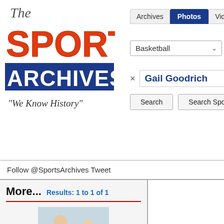[Figure (logo): The Sports Archives logo with 'The' in italic script, 'SPORTS' in large red block letters, 'ARCHIVES' in white on dark blue background, and tagline 'We Know History' in italic script]
[Figure (screenshot): Website navigation tabs: Archives, Photos (active/highlighted blue), Video, Audio]
[Figure (screenshot): Basketball sport selector dropdown and basketball player icon]
× Gail Goodrich
Search   Search Sports
Follow @SportsArchives Tweet
More...  Results: 1 to 1 of 1
[Figure (photo): Photo of a man in blue jersey holding a basketball with a child at what appears to be a signing event or store]